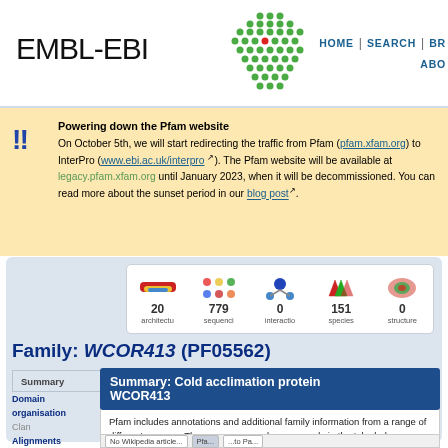EMBL-EBI | HOME | SEARCH | BROWSE | ABOUT
Powering down the Pfam website
On October 5th, we will start redirecting the traffic from Pfam (pfam.xfam.org) to InterPro (www.ebi.ac.uk/interpro). The Pfam website will be available at legacy.pfam.xfam.org until January 2023, when it will be decommissioned. You can read more about the sunset period in our blog post.
[Figure (infographic): Icon statistics bar showing: 20 architectures, 779 sequences, 0 interactions, 151 species, 0 structures]
Family: WCOR413 (PF05562)
Summary: Cold acclimation protein WCOR413
Pfam includes annotations and additional family information from a range of different sources. These sources can be accessed via the tabs below.
Summary
Domain organisation
Clan
Alignments
HMM